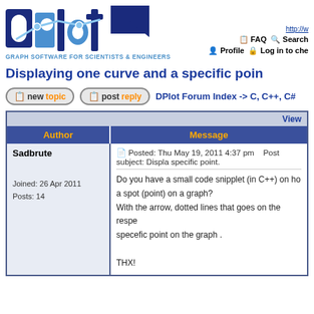[Figure (logo): DPlot logo - blue 3D letters with graph line and dots, tagline: GRAPH SOFTWARE FOR SCIENTISTS & ENGINEERS]
http:// | FAQ | Search | Profile | Log in to che...
Displaying one curve and a specific poin...
new topic | post reply | DPlot Forum Index -> C, C++, C#
| Author | Message |
| --- | --- |
| Sadbrute

Joined: 26 Apr 2011
Posts: 14 | Posted: Thu May 19, 2011 4:37 pm   Post subject: Displa... specific point.

Do you have a small code snipplet (in C++) on ho... a spot (point) on a graph?
With the arrow, dotted lines that goes on the respe... specefic point on the graph .

THX! |